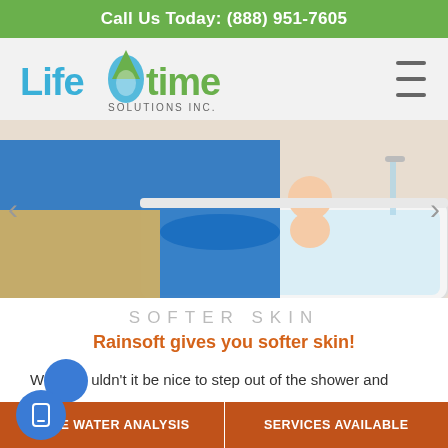Call Us Today: (888) 951-7605
[Figure (logo): Lifetime Solutions Inc. logo with water drop icon, blue and green text]
[Figure (photo): Parent bathing a baby in a white bathtub, person wearing blue long-sleeve shirt and yellow pants]
SOFTER SKIN
Rainsoft gives you softer skin!
Wouldn't it be nice to step out of the shower and soft and smooth all over for the rest of your
FREE WATER ANALYSIS   SERVICES AVAILABLE